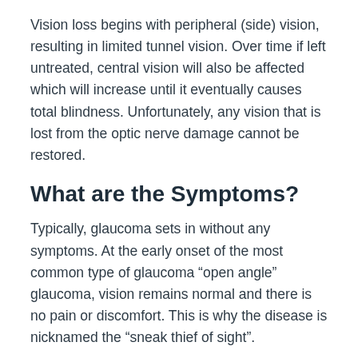Vision loss begins with peripheral (side) vision, resulting in limited tunnel vision. Over time if left untreated, central vision will also be affected which will increase until it eventually causes total blindness. Unfortunately, any vision that is lost from the optic nerve damage cannot be restored.
What are the Symptoms?
Typically, glaucoma sets in without any symptoms. At the early onset of the most common type of glaucoma “open angle” glaucoma, vision remains normal and there is no pain or discomfort. This is why the disease is nicknamed the “sneak thief of sight”.
An acute type of glaucoma, called angle-closure glaucoma, can present sudden symptoms such as foggy, blurred vision, halos around lights, eye pain, headache and even nausea. This is a medical emergency and